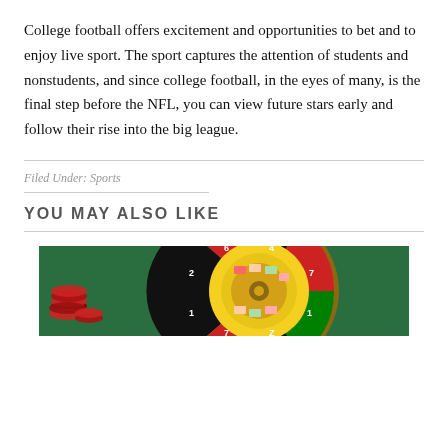College football offers excitement and opportunities to bet and to enjoy live sport. The sport captures the attention of students and nonstudents, and since college football, in the eyes of many, is the final step before the NFL, you can view future stars early and follow their rise into the big league.
Filed Under: Sports
YOU MAY ALSO LIKE
[Figure (photo): A roulette wheel with colorful numbered segments (red, green, yellow) and casino chips visible in the background on a green felt table.]